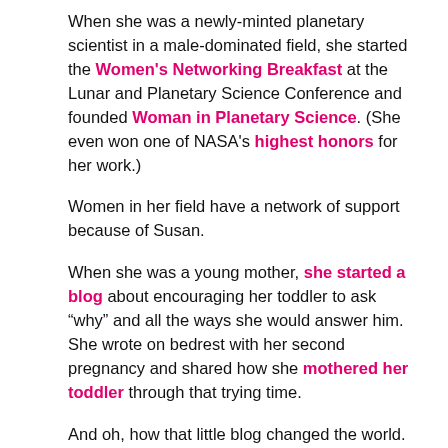When she was a newly-minted planetary scientist in a male-dominated field, she started the Women's Networking Breakfast at the Lunar and Planetary Science Conference and founded Woman in Planetary Science. (She even won one of NASA's highest honors for her work.)
Women in her field have a network of support because of Susan.
When she was a young mother, she started a blog about encouraging her toddler to ask “why” and all the ways she would answer him. She wrote on bedrest with her second pregnancy and shared how she mothered her toddler through that trying time.
And oh, how that little blog changed the world.